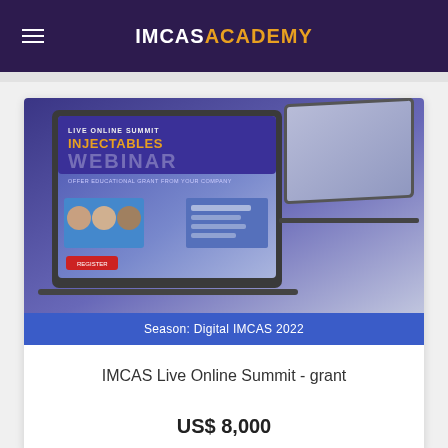IMCAS ACADEMY
[Figure (screenshot): Screenshot of IMCAS Live Online Summit Injectables webinar page displayed on a laptop and tablet device mockup. Banner reads LIVE ONLINE SUMMIT INJECTABLES WEBINAR.]
Season: Digital IMCAS 2022
IMCAS Live Online Summit - grant
US$ 8,000